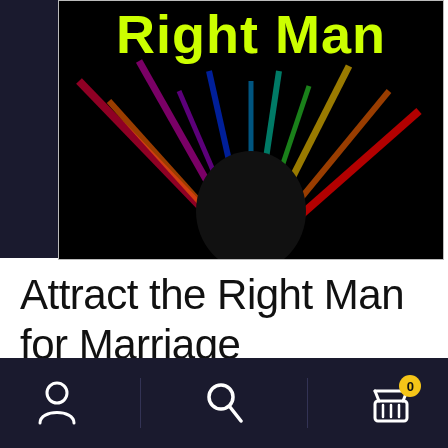[Figure (photo): Book cover with dark background and colorful swirling rays. Title 'Right Man' displayed in large bold yellow-green text on a black background.]
Attract the Right Man for Marriage
$9.95 – $19.95